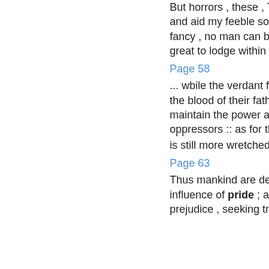But horrors , these , That vouch the truth , and aid my feeble song . From vice . sense , fancy , no man can be blest : Bliss is too great to lodge within an hour ...
Page 58
... wbile the verdant fields are crimsoned with the blood of their fathers , while fighting to maintain the power and pride of their oppressors :: as for the population of Asia , it is still more wretched than that of Europe .
Page 63
Thus mankind are deluded into error , by the influence of pride ; and under the power of prejudice , seeking truth